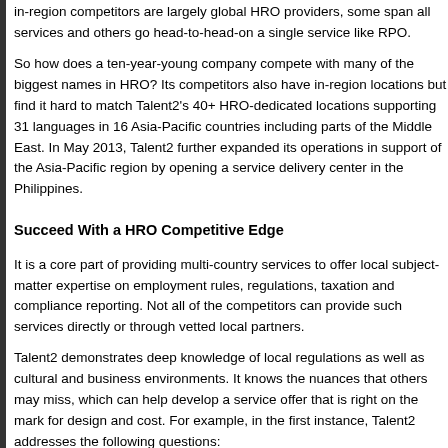in-region competitors are largely global HRO providers, some span all services and others go head-to-head-on a single service like RPO.
So how does a ten-year-young company compete with many of the biggest names in HRO? Its competitors also have in-region locations but find it hard to match Talent2's 40+ HRO-dedicated locations supporting 31 languages in 16 Asia-Pacific countries including parts of the Middle East. In May 2013, Talent2 further expanded its operations in support of the Asia-Pacific region by opening a service delivery center in the Philippines.
Succeed With a HRO Competitive Edge
It is a core part of providing multi-country services to offer local subject-matter expertise on employment rules, regulations, taxation and compliance reporting. Not all of the competitors can provide such services directly or through vetted local partners.
Talent2 demonstrates deep knowledge of local regulations as well as cultural and business environments. It knows the nuances that others may miss, which can help develop a service offer that is right on the mark for design and cost. For example, in the first instance, Talent2 addresses the following questions:
What style of payroll service center support is preferred by employees in the different areas of its region?
What are the differences in an MNC headquartered in the West versus